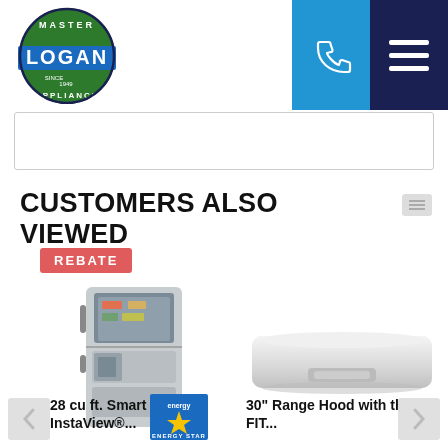[Figure (logo): Logan Master Appliance logo — circular badge with 'LOGAN' text on blue background]
[Figure (screenshot): Blue phone icon button on blue background (nav header)]
[Figure (screenshot): Hamburger menu icon on dark navy background (nav header)]
CUSTOMERS ALSO VIEWED
[Figure (screenshot): Red/pink REBATE badge label]
[Figure (photo): LG 28 cu ft Smart InstaView refrigerator in stainless steel with Energy Star badge]
28 cu ft. Smart InstaView®...
[Figure (photo): 30 inch white range hood appliance]
30" Range Hood with the FIT...